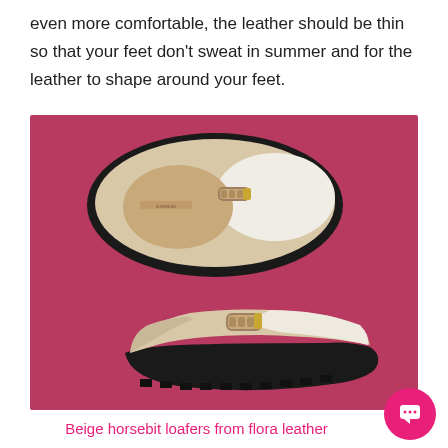even more comfortable, the leather should be thin so that your feet don't sweat in summer and for the leather to shape around your feet.
[Figure (photo): Two beige horsebit loafers with white leather panels, gold chain hardware, and black soles, photographed on a dark pink/magenta background. Top shoe shown from above, bottom shoe shown from the side.]
Beige horsebit loafers from flora leather